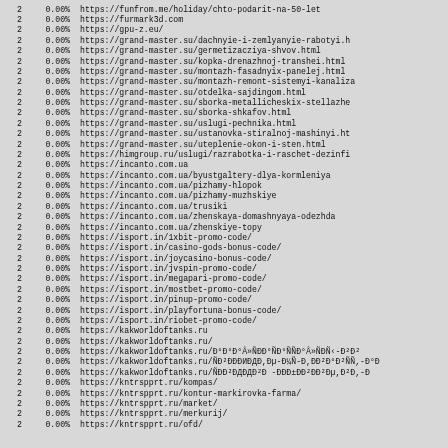| col1 | col2 | col3 |
| --- | --- | --- |
| 2 | 0.00% | https://funfrom.me/holiday/chto-podarit-na-50-let |
| 2 | 0.00% | https://furmark3d.com |
| 2 | 0.00% | https://gpu-z.eu/ |
| 2 | 0.00% | https://grand-master.su/dachnyie-i-zemlyanyie-rabotyi.h |
| 2 | 0.00% | https://grand-master.su/germetizacziya-shvov.html |
| 2 | 0.00% | https://grand-master.su/kopka-drenazhnoj-transhei.html |
| 2 | 0.00% | https://grand-master.su/montazh-fasadnyix-panelej.html |
| 2 | 0.00% | https://grand-master.su/montazh-remont-sistemyi-kanaliza |
| 2 | 0.00% | https://grand-master.su/otdelka-sajdingom.html |
| 2 | 0.00% | https://grand-master.su/sborka-metallicheskix-stellazhe |
| 2 | 0.00% | https://grand-master.su/sborka-shkafov.html |
| 2 | 0.00% | https://grand-master.su/uslugi-pechnika.html |
| 2 | 0.00% | https://grand-master.su/ustanovka-stiralnoj-mashinyi.ht |
| 2 | 0.00% | https://grand-master.su/uteplenie-okon-i-sten.html |
| 2 | 0.00% | https://himgroup.ru/uslugi/razrabotka-i-raschet-dezinfi |
| 2 | 0.00% | https://incanto.com.ua |
| 2 | 0.00% | https://incanto.com.ua/byustgaltery-dlya-kormleniya |
| 2 | 0.00% | https://incanto.com.ua/pizhamy-hlopok |
| 2 | 0.00% | https://incanto.com.ua/pizhamy-muzhskiye |
| 2 | 0.00% | https://incanto.com.ua/trusiki |
| 2 | 0.00% | https://incanto.com.ua/zhenskaya-domashnyaya-odezhda |
| 2 | 0.00% | https://incanto.com.ua/zhenskiye-topy |
| 2 | 0.00% | https://isport.in/1xbit-promo-code/ |
| 2 | 0.00% | https://isport.in/casino-gods-bonus-code/ |
| 2 | 0.00% | https://isport.in/joycasino-bonus-code/ |
| 2 | 0.00% | https://isport.in/jvspin-promo-code/ |
| 2 | 0.00% | https://isport.in/megapari-promo-code/ |
| 2 | 0.00% | https://isport.in/mostbet-promo-code/ |
| 2 | 0.00% | https://isport.in/pinup-promo-code/ |
| 2 | 0.00% | https://isport.in/playfortuna-bonus-code/ |
| 2 | 0.00% | https://isport.in/riobet-promo-code/ |
| 2 | 0.00% | https://kakworldoftanks.ru |
| 2 | 0.00% | https://kakworldoftanks.ru/ |
| 2 | 0.00% | https://kakworldoftanks.ru/ÐºÐ°Ð½ÑÐÑÐÑÐÑиÐÐÐÑÐÐ¸-Ð²Ð² |
| 2 | 0.00% | https://kakworldoftanks.ru/ÑÐ²ÐÐÐÐÐÐÐÑÐµ-Ð¼Ñ-Ð,ÐÐ²Ð°Ð²ÐÑ,-Ð°Ð |
| 2 | 0.00% | https://kakworldoftanks.ru/ÑÐÐ²Ð²Ð-Ð³-ÐÐÐÐÐÐÐÐÐµÐ,Ð²Ð,-Ð |
| 2 | 0.00% | https://kntrspprt.ru/kompas/ |
| 2 | 0.00% | https://kntrspprt.ru/kontur-markirovka-farma/ |
| 2 | 0.00% | https://kntrspprt.ru/market/ |
| 2 | 0.00% | https://kntrspprt.ru/merkurij/ |
| 2 | 0.00% | https://kntrspprt.ru/ofd/ |